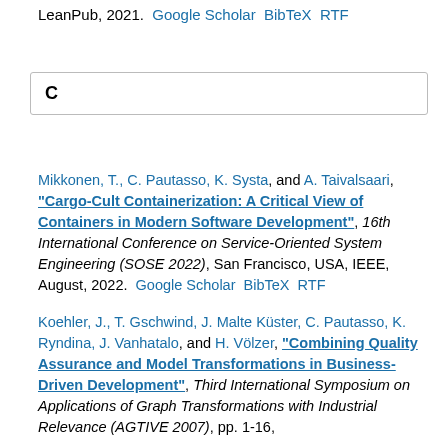LeanPub, 2021. Google Scholar BibTeX RTF
C
Mikkonen, T., C. Pautasso, K. Systa, and A. Taivalsaari, "Cargo-Cult Containerization: A Critical View of Containers in Modern Software Development", 16th International Conference on Service-Oriented System Engineering (SOSE 2022), San Francisco, USA, IEEE, August, 2022. Google Scholar BibTeX RTF
Koehler, J., T. Gschwind, J. Malte Küster, C. Pautasso, K. Ryndina, J. Vanhatalo, and H. Völzer, "Combining Quality Assurance and Model Transformations in Business-Driven Development", Third International Symposium on Applications of Graph Transformations with Industrial Relevance (AGTIVE 2007), pp. 1-16,